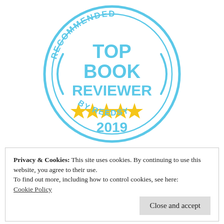[Figure (logo): Circular badge with blue border and two concentric rings. Text around top arc reads 'RECOMMENDED', center text reads 'TOP BOOK REVIEWER' in large bold blue letters, five gold stars below, year '2019' below stars, and 'BY REEDSY' along bottom arc. All text and decorative elements in sky blue except stars which are gold/yellow.]
Privacy & Cookies: This site uses cookies. By continuing to use this website, you agree to their use.
To find out more, including how to control cookies, see here: Cookie Policy
Close and accept